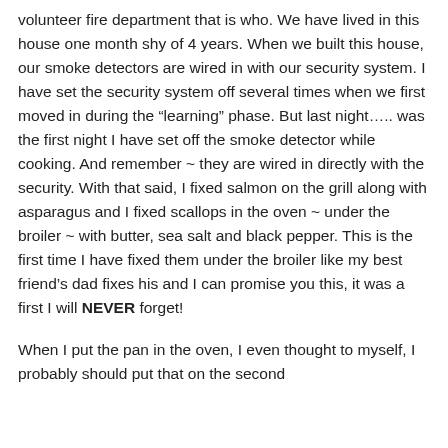volunteer fire department that is who. We have lived in this house one month shy of 4 years. When we built this house, our smoke detectors are wired in with our security system. I have set the security system off several times when we first moved in during the “learning” phase. But last night….. was the first night I have set off the smoke detector while cooking. And remember ~ they are wired in directly with the security. With that said, I fixed salmon on the grill along with asparagus and I fixed scallops in the oven ~ under the broiler ~ with butter, sea salt and black pepper. This is the first time I have fixed them under the broiler like my best friend’s dad fixes his and I can promise you this, it was a first I will NEVER forget!
When I put the pan in the oven, I even thought to myself, I probably should put that on the second